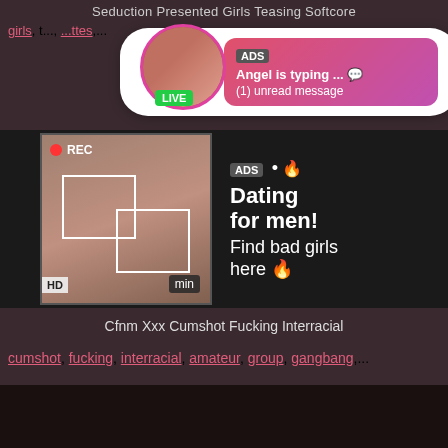Seduction Presented Girls Teasing Softcore
girls, t..., ...ttes,...
[Figure (screenshot): Ad popup overlay with avatar showing LIVE badge, pink gradient message bubble saying 'ADS Angel is typing ... (1) unread message']
[Figure (screenshot): Video thumbnail with REC label, focus box overlay, HD badge, min badge, and ad text: ADS • Dating for men! Find bad girls here]
Cfnm Xxx Cumshot Fucking Interracial
cumshot, fucking, interracial, amateur, group, gangbang,...